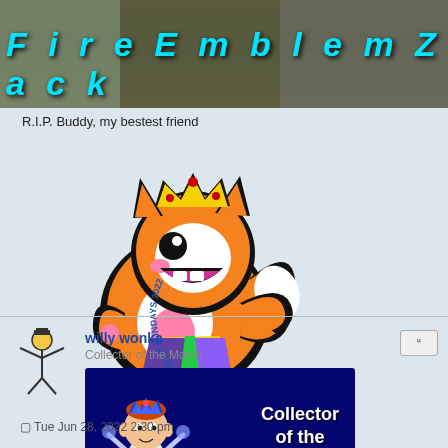FireEmblemZack
R.I.P. Buddy, my bestest friend
[Figure (illustration): Cartoon fox/cat character sticker with crown, waving, wearing colorful outfit. Text around border reads 'COOKIE AT FUNDAYS 2022']
willy wonka
Collector of the Month
[Figure (illustration): Blue promotional image showing a cartoon character with blue crown, text reads 'Collector of the Month']
Tue Jun 28, 2022 2:30 pm